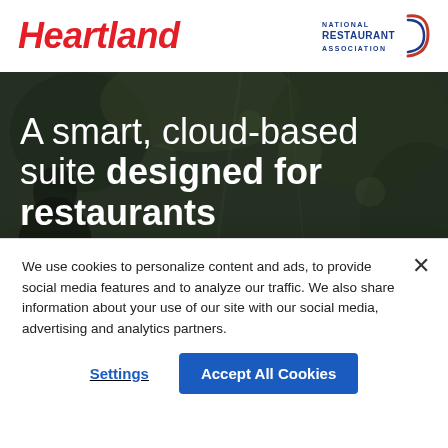[Figure (logo): Heartland logo in red bold italic text]
[Figure (logo): National Restaurant Association logo with circular blue/red arc graphic]
[Figure (photo): Background photo of restaurant/outdoor scene with blurred people and greenery]
A smart, cloud-based suite designed for restaurants
We use cookies to personalize content and ads, to provide social media features and to analyze our traffic. We also share information about your use of our site with our social media, advertising and analytics partners.
Settings
Accept All Cookies